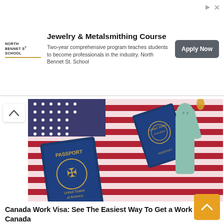[Figure (advertisement): Advertisement for North Bennet St. School Jewelry & Metalsmithing Course with Apply Now button]
[Figure (photo): US passport, American flag, and Statue of Liberty composite image]
Canada Work Visa: See The Easiest Way To Get a Work Visa To Canada
[Figure (photo): Group of diverse workers in various professions holding a sign that says WORK IN CANADA]